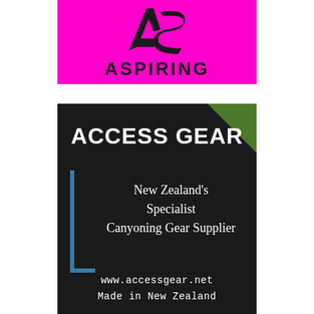[Figure (logo): Aspiring logo on magenta/pink background with stylized 'AS' lettermark and bold text 'ASPIRING' below]
[Figure (logo): Access Gear logo on dark/black background with white bold text 'ACCESS GEAR', subtitle 'New Zealand's Specialist Canyoning Gear Supplier', blue bracket decoration, green corner accent, and footer text 'www.accessgear.net Made in New Zealand']